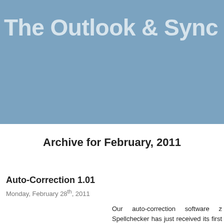[Figure (other): Blue banner header with partial text 'The Outlook & Sync blo']
The Outlook & Sync blo
Archive for February, 2011
Auto-Correction 1.01
Monday, February 28th, 2011
Our auto-correction software z Spellchecker has just received its first up improved the looks of the user interface